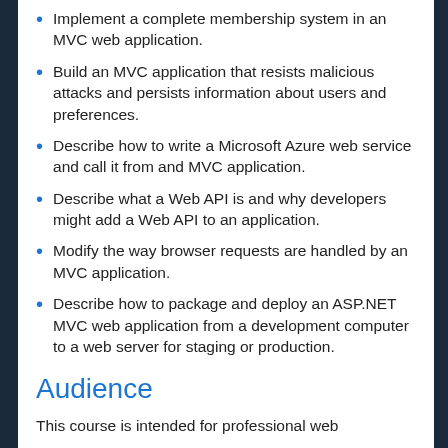Implement a complete membership system in an MVC web application.
Build an MVC application that resists malicious attacks and persists information about users and preferences.
Describe how to write a Microsoft Azure web service and call it from and MVC application.
Describe what a Web API is and why developers might add a Web API to an application.
Modify the way browser requests are handled by an MVC application.
Describe how to package and deploy an ASP.NET MVC web application from a development computer to a web server for staging or production.
Audience
This course is intended for professional web